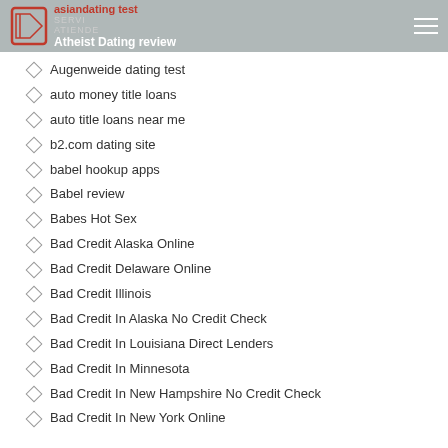asiandating test | Atheist Dating review
Augenweide dating test
auto money title loans
auto title loans near me
b2.com dating site
babel hookup apps
Babel review
Babes Hot Sex
Bad Credit Alaska Online
Bad Credit Delaware Online
Bad Credit Illinois
Bad Credit In Alaska No Credit Check
Bad Credit In Louisiana Direct Lenders
Bad Credit In Minnesota
Bad Credit In New Hampshire No Credit Check
Bad Credit In New York Online